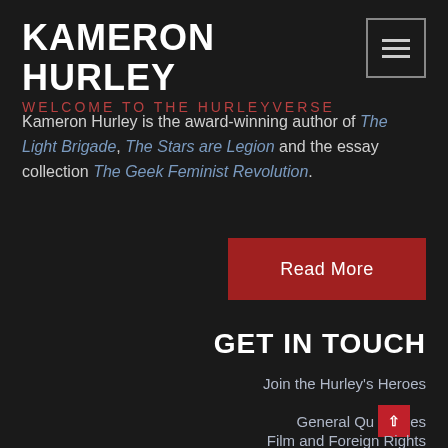KAMERON HURLEY
WELCOME TO THE HURLEYVERSE
Kameron Hurley is the award-winning author of The Light Brigade, The Stars are Legion and the essay collection The Geek Feminist Revolution.
[Figure (other): Red 'Read More' button]
GET IN TOUCH
Join the Hurley's Heroes
General Qu[scroll-top button]es
Film and Foreign Rights